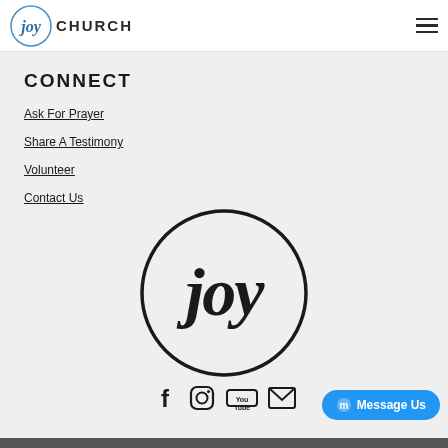[Figure (logo): Joy Church logo with circular 'joy' script and CHURCH text in header]
CONNECT
Ask For Prayer
Share A Testimony
Volunteer
Contact Us
[Figure (logo): Large Joy church circular logo with handwritten 'joy' script in black circle]
[Figure (infographic): Social media icons: Facebook, Instagram, YouTube, Email]
[Figure (other): Messenger Message Us blue button]